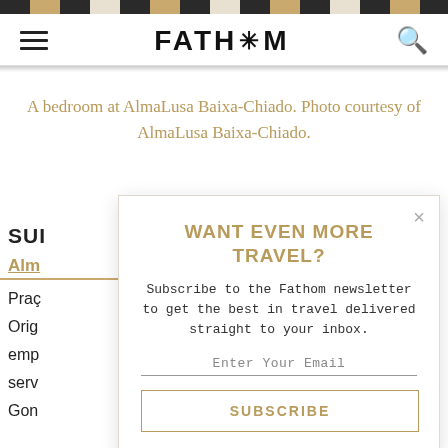FATH*M
A bedroom at AlmaLusa Baixa-Chiado. Photo courtesy of AlmaLusa Baixa-Chiado.
SUI
Alm
Praç
Orig
emp
serv
Gon
[Figure (screenshot): Newsletter subscription modal popup with title 'WANT EVEN MORE TRAVEL?', subscription description text, email input field, and SUBSCRIBE button]